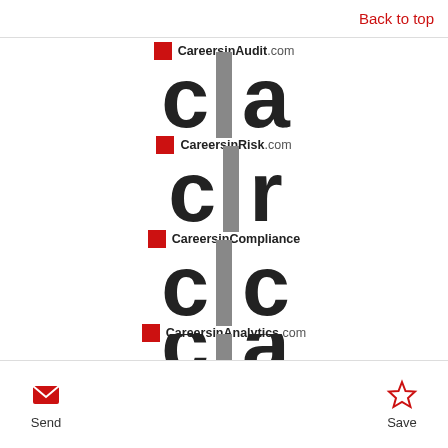Back to top
[Figure (logo): CareersinAudit.com logo with large 'cia' letters, red square accent, gray vertical bar on 'i']
[Figure (logo): CareersinRisk.com logo with large 'cir' letters, red square accent, gray vertical bar on 'i']
[Figure (logo): CareersinCompliance logo with large 'cic' letters, red square accent, gray vertical bar on 'i']
[Figure (logo): CareersinAnalytics.com logo with large letters partially visible, red square accent, gray vertical bar]
Send   Save